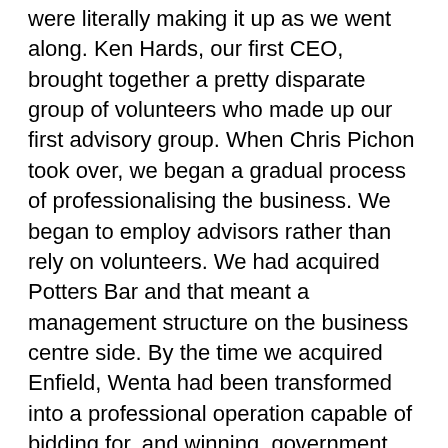were literally making it up as we went along. Ken Hards, our first CEO, brought together a pretty disparate group of volunteers who made up our first advisory group. When Chris Pichon took over, we began a gradual process of professionalising the business. We began to employ advisors rather than rely on volunteers. We had acquired Potters Bar and that meant a management structure on the business centre side. By the time we acquired Enfield, Wenta had been transformed into a professional operation capable of bidding for, and winning, government contracts. But, through all of this, it has always maintained its particular character.'
WHAT HAVE BEEN YOUR BIGGEST HIGHLIGHTS?
'Being involved in establishing Wenta and designing an effective structure for it. Investing in our Potters Bar